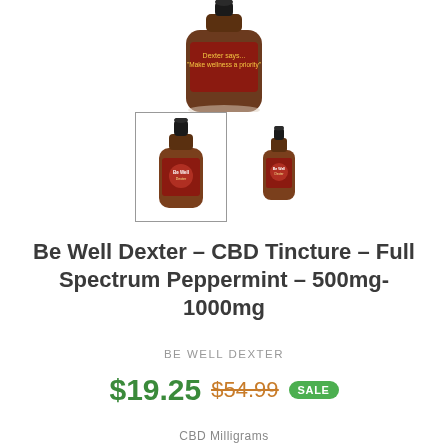[Figure (photo): Product photo showing top portion of a CBD tincture bottle with dropper, dark amber glass, red label with 'Dexter says... Make wellness a priority' text visible]
[Figure (photo): Two thumbnail images of Be Well Dexter CBD tincture dropper bottles with amber glass and red labels. Left thumbnail is selected (bordered). Right thumbnail is smaller.]
Be Well Dexter – CBD Tincture – Full Spectrum Peppermint – 500mg-1000mg
BE WELL DEXTER
$19.25 $54.99 SALE
CBD Milligrams